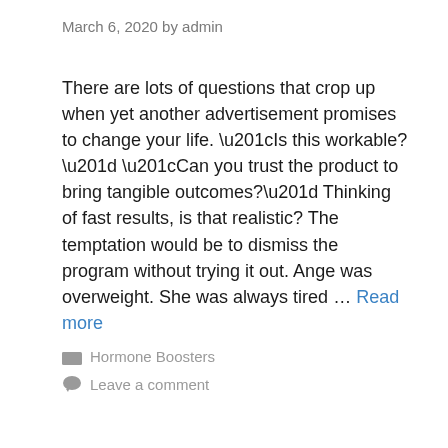March 6, 2020 by admin
There are lots of questions that crop up when yet another advertisement promises to change your life. “Is this workable?” “Can you trust the product to bring tangible outcomes?” Thinking of fast results, is that realistic? The temptation would be to dismiss the program without trying it out. Ange was overweight. She was always tired … Read more
Hormone Boosters
Leave a comment